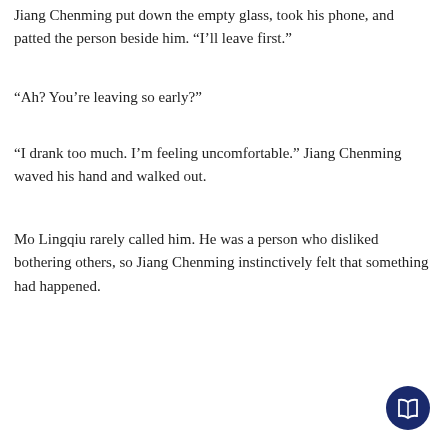Jiang Chenming put down the empty glass, took his phone, and patted the person beside him. “I’ll leave first.”
“Ah? You’re leaving so early?”
“I drank too much. I’m feeling uncomfortable.” Jiang Chenming waved his hand and walked out.
Mo Lingqiu rarely called him. He was a person who disliked bothering others, so Jiang Chenming instinctively felt that something had happened.